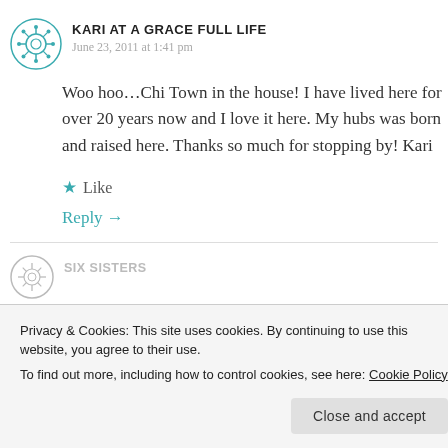KARI AT A GRACE FULL LIFE
June 23, 2011 at 1:41 pm
Woo hoo…Chi Town in the house! I have lived here for over 20 years now and I love it here. My hubs was born and raised here. Thanks so much for stopping by! Kari
★ Like
Reply →
SIX SISTERS
Privacy & Cookies: This site uses cookies. By continuing to use this website, you agree to their use.
To find out more, including how to control cookies, see here: Cookie Policy
Close and accept
fantastic . . . you are so creative to just look at